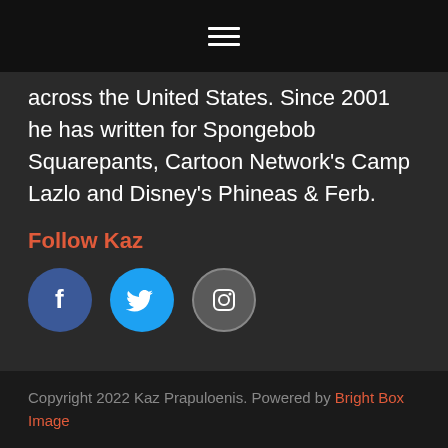☰
across the United States. Since 2001 he has written for Spongebob Squarepants, Cartoon Network's Camp Lazlo and Disney's Phineas & Ferb.
Follow Kaz
[Figure (infographic): Three social media icon circles: Facebook (dark blue with 'f'), Twitter (bright blue with bird icon), Instagram (gray with camera icon)]
Copyright 2022 Kaz Prapuloenis. Powered by Bright Box Image